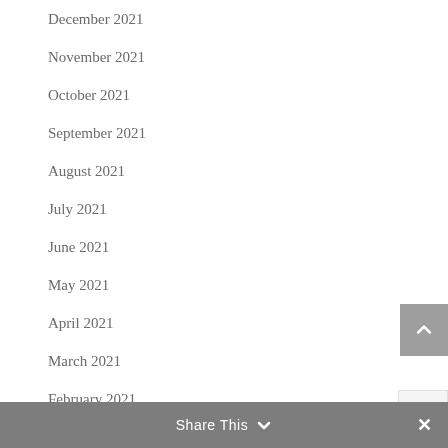December 2021
November 2021
October 2021
September 2021
August 2021
July 2021
June 2021
May 2021
April 2021
March 2021
February 2021
January 2021
December 2020
Share This ∨